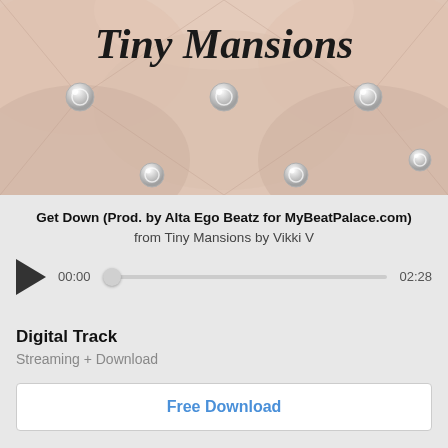[Figure (photo): Album art for Tiny Mansions by Vikki V — tufted cream/beige leather background with diamond-shaped tufting and silver crystal buttons, with cursive text 'Tiny Mansions' at the top]
Get Down (Prod. by Alta Ego Beatz for MyBeatPalace.com)
from Tiny Mansions by Vikki V
[Figure (other): Audio player with play button, time display 00:00 and 02:28, and scrubber bar]
Digital Track
Streaming + Download
Free Download